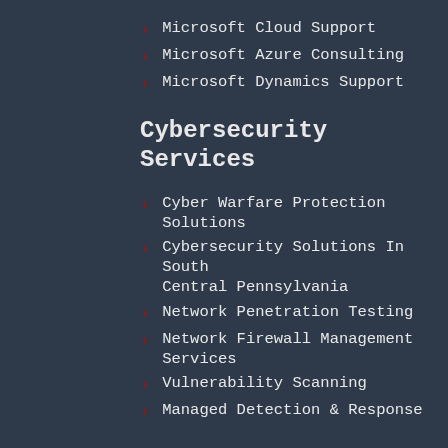Microsoft Cloud Support
Microsoft Azure Consulting
Microsoft Dynamics Support
Cybersecurity Services
Cyber Warfare Protection Solutions
Cybersecurity Solutions In South Central Pennsylvania
Network Penetration Testing
Network Firewall Management Services
Vulnerability Scanning
Managed Detection & Response
Industries